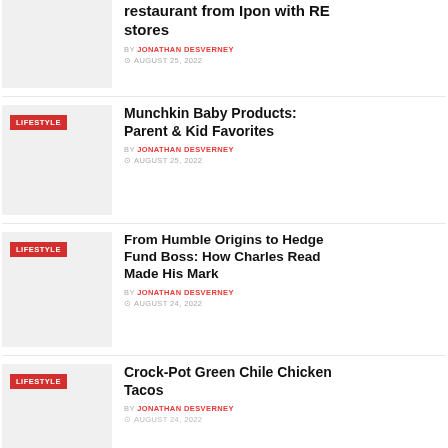[Figure (photo): Article thumbnail placeholder (gray box), top article partially visible]
restaurant from Ipon with RE stores
BY JONATHAN DESVERNEY
AUGUST 25, 2022
[Figure (photo): Article thumbnail placeholder with LIFESTYLE tag]
Munchkin Baby Products: Parent & Kid Favorites
BY JONATHAN DESVERNEY
AUGUST 25, 2022
[Figure (photo): Article thumbnail placeholder with LIFESTYLE tag]
From Humble Origins to Hedge Fund Boss: How Charles Read Made His Mark
BY JONATHAN DESVERNEY
AUGUST 24, 2022
[Figure (photo): Article thumbnail placeholder with LIFESTYLE tag]
Crock-Pot Green Chile Chicken Tacos
BY JONATHAN DESVERNEY
AUGUST 24, 2022